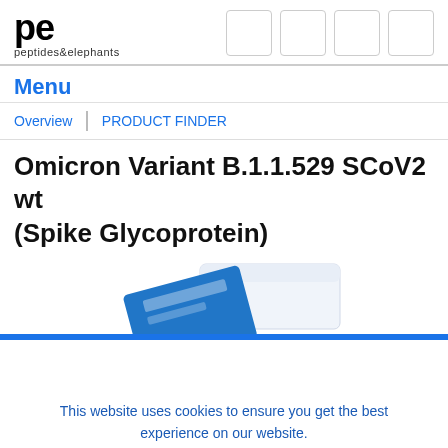pe peptides&elephants
Menu
Overview | PRODUCT FINDER
Omicron Variant B.1.1.529 SCoV2 wt (Spike Glycoprotein)
[Figure (photo): Product packaging photo showing a white box and blue card with peptides&elephants branding]
This website uses cookies to ensure you get the best experience on our website.
Accept